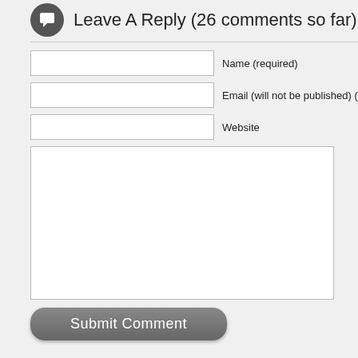Leave A Reply (26 comments so far)
Name (required)
Email (will not be published) (required)
Website
Submit Comment
Waitin to see what you've got!